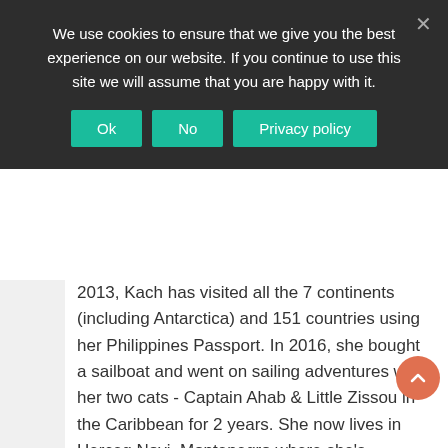We use cookies to ensure that we give you the best experience on our website. If you continue to use this site we will assume that you are happy with it.
2013, Kach has visited all the 7 continents (including Antarctica) and 151 countries using her Philippines Passport. In 2016, she bought a sailboat and went on sailing adventures with her two cats - Captain Ahab & Little Zissou in the Caribbean for 2 years. She now lives in Herceg Novi, Montenegro where she's enjoying her expat life and living on a gorgeous Stonehouse. She writes about her experiences traveling as a Filipina traveler with a PHL Passport. Also tips on backpacking trips, luxury hotel experiences, product reviews, sailing & adventure travel.